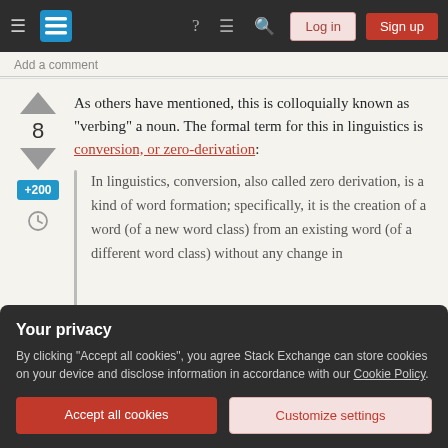Stack Exchange navigation bar with Log in and Sign up buttons
Add a comment
As others have mentioned, this is colloquially known as "verbing" a noun. The formal term for this in linguistics is conversion, or zero-derivation:
In linguistics, conversion, also called zero derivation, is a kind of word formation; specifically, it is the creation of a word (of a new word class) from an existing word (of a different word class) without any change in
Your privacy
By clicking "Accept all cookies", you agree Stack Exchange can store cookies on your device and disclose information in accordance with our Cookie Policy.
Accept all cookies
Customize settings